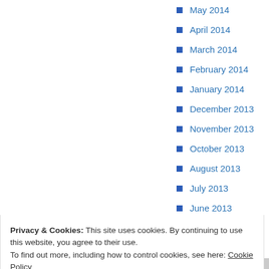May 2014
April 2014
March 2014
February 2014
January 2014
December 2013
November 2013
October 2013
August 2013
July 2013
June 2013
March 2013
Privacy & Cookies: This site uses cookies. By continuing to use this website, you agree to their use. To find out more, including how to control cookies, see here: Cookie Policy
Close and accept